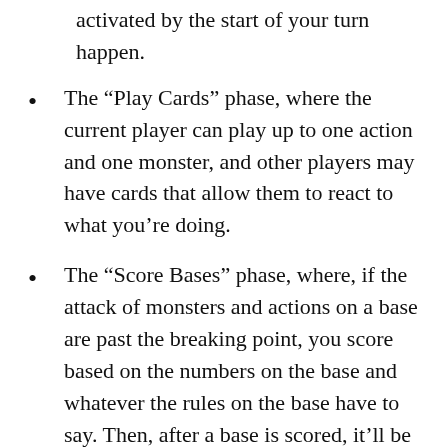activated by the start of your turn happen.
The “Play Cards” phase, where the current player can play up to one action and one monster, and other players may have cards that allow them to react to what you’re doing.
The “Score Bases” phase, where, if the attack of monsters and actions on a base are past the breaking point, you score based on the numbers on the base and whatever the rules on the base have to say. Then, after a base is scored, it’ll be taken off the board and replaced with a new one.